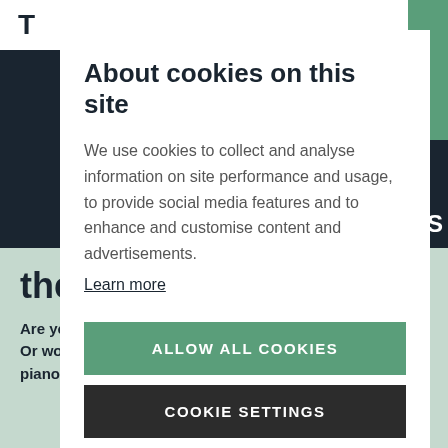About cookies on this site
We use cookies to collect and analyse information on site performance and usage, to provide social media features and to enhance and customise content and advertisements.
Learn more
ALLOW ALL COOKIES
COOKIE SETTINGS
them online
Are you in dubio on what instrument you want or need? Or would you rather receive advice from one of our piano consultants? Get in touch!